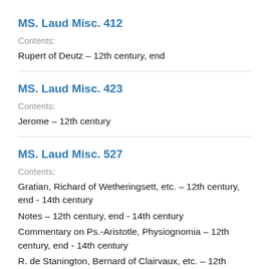MS. Laud Misc. 412
Contents:
Rupert of Deutz — 12th century, end
MS. Laud Misc. 423
Contents:
Jerome — 12th century
MS. Laud Misc. 527
Contents:
Gratian, Richard of Wetheringsett, etc. — 12th century, end - 14th century
Notes — 12th century, end - 14th century
Commentary on Ps.-Aristotle, Physiognomia — 12th century, end - 14th century
R. de Stanington, Bernard of Clairvaux, etc. — 12th